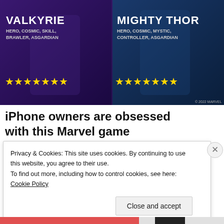[Figure (screenshot): Marvel Strike Force game advertisement showing Valkyrie (left) and Mighty Thor (right) characters with yellow star ratings on a dark fantasy background]
iPhone owners are obsessed with this Marvel game
MARVEL Strike Force
[Figure (other): Circular menu/hamburger icon button]
Privacy & Cookies: This site uses cookies. By continuing to use this website, you agree to their use.
To find out more, including how to control cookies, see here: Cookie Policy
Close and accept